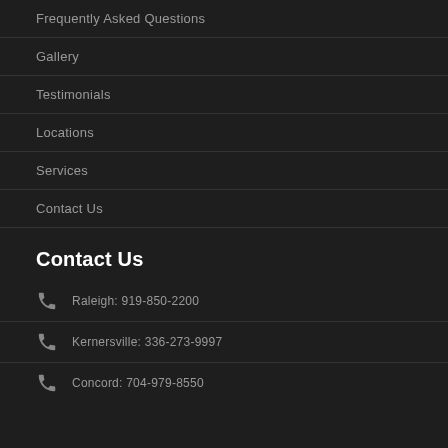Frequently Asked Questions
Gallery
Testimonials
Locations
Services
Contact Us
Contact Us
Raleigh: 919-850-2200
Kernersville: 336-273-9997
Concord: 704-979-8550